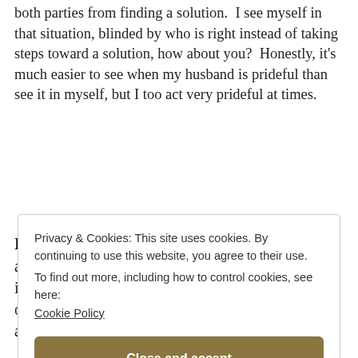both parties from finding a solution. I see myself in that situation, blinded by who is right instead of taking steps toward a solution, how about you? Honestly, it's much easier to see when my husband is prideful than see it in myself, but I too act very prideful at times.
Pride – a high or inordinate opinion of one's own dignity, importance, merit, or superiority, whether as cherished in the mind or as displayed in bearing, conduct, etc.
Privacy & Cookies: This site uses cookies. By continuing to use this website, you agree to their use.
To find out more, including how to control cookies, see here: Cookie Policy
Close and accept